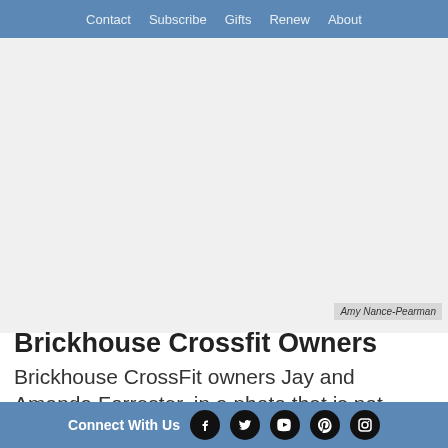Contact  Subscribe  Gifts  Renew  About
[Figure (photo): Large photo area showing Brickhouse CrossFit owners Jay and Amanda Forrester (photo appears mostly white/blank in this crop)]
Amy Nance-Pearman
Brickhouse Crossfit Owners
Brickhouse CrossFit owners Jay and Amanda Forrester, in a photo that is not upside down.
Connect With Us